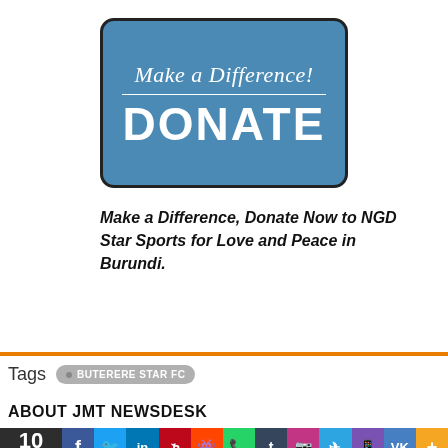[Figure (illustration): Blue rounded rectangle donate button with script text 'Make a Difference!' above a horizontal line and bold white text 'DONATE' below, on a white background with black border.]
Make a Difference, Donate Now to NGD Star Sports for Love and Peace in Burundi.
Tags  BUTERERE STAR FC
ABOUT JMT NEWSDESK
10 Shares — social share bar with Facebook, Twitter, LinkedIn, Pinterest, Reddit, WhatsApp, Tumblr, Instagram, Telegram, Phone, VK, More